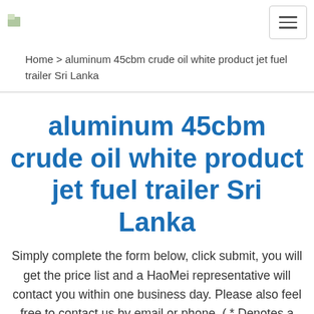Home > aluminum 45cbm crude oil white product jet fuel trailer Sri Lanka
aluminum 45cbm crude oil white product jet fuel trailer Sri Lanka
Simply complete the form below, click submit, you will get the price list and a HaoMei representative will contact you within one business day. Please also feel free to contact us by email or phone. ( * Denotes a required field).
Contact: Aluminum Factory